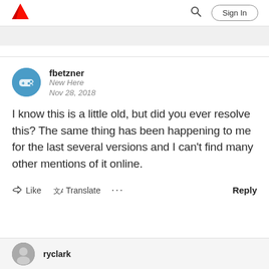Adobe logo, search icon, Sign In button
[Figure (screenshot): Adobe community forum post by user fbetzner dated Nov 28, 2018 with avatar icon]
I know this is a little old, but did you ever resolve this? The same thing has been happening to me for the last several versions and I can't find many other mentions of it online.
Like   Translate   ...   Reply
ryclark